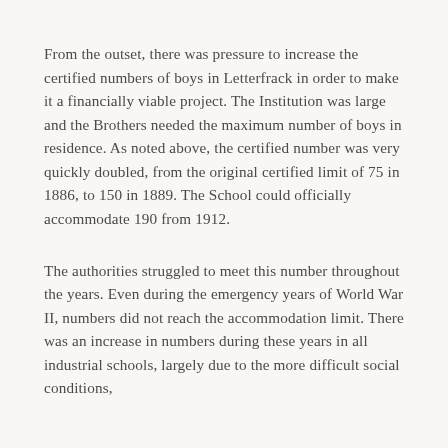From the outset, there was pressure to increase the certified numbers of boys in Letterfrack in order to make it a financially viable project. The Institution was large and the Brothers needed the maximum number of boys in residence. As noted above, the certified number was very quickly doubled, from the original certified limit of 75 in 1886, to 150 in 1889. The School could officially accommodate 190 from 1912.
The authorities struggled to meet this number throughout the years. Even during the emergency years of World War II, numbers did not reach the accommodation limit. There was an increase in numbers during these years in all industrial schools, largely due to the more difficult social conditions,